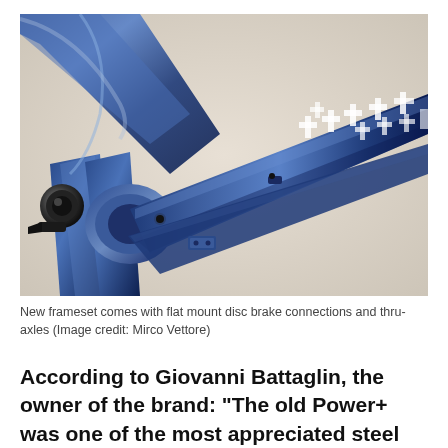[Figure (photo): Close-up photograph of a shiny blue bicycle frameset showing the bottom bracket area, chainstays, and fork dropout. The frame is metallic deep blue with white cross/plus-sign pattern graphics on the chainstay. Flat mount disc brake tabs and thru-axle dropout visible. Background is light beige/off-white.]
New frameset comes with flat mount disc brake connections and thru-axles (Image credit: Mirco Vettore)
According to Giovanni Battaglin, the owner of the brand: "The old Power+ was one of the most appreciated steel